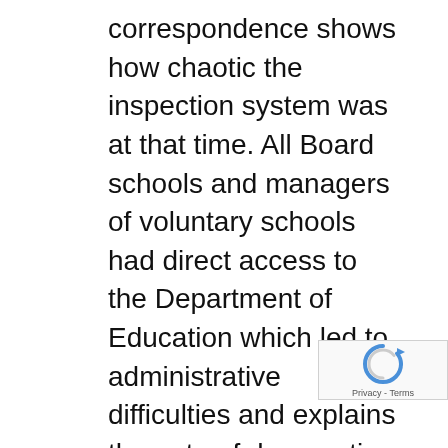correspondence shows how chaotic the inspection system was at that time. All Board schools and managers of voluntary schools had direct access to the Department of Education which led to administrative difficulties and explains the note of desperation in the communication from Mr K.W. Bellaire, the Inspector. He wrote from the Education Department on 3 Jan 1872, refusing the Reverend Gordon's invitation to dinner but requesting an invitation to lunch. 'Excuse this behaviour please, I am so overwhelmed with engagements that I do not know where to turn'.
The Reverend Gordon wrote to Colonel No to tell him that the school had passed its inspection very satisfactorily and had 'eve...